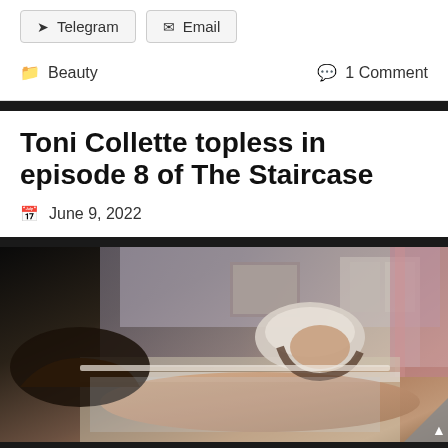Telegram   Email
Beauty   1 Comment
Toni Collette topless in episode 8 of The Staircase
June 9, 2022
[Figure (photo): A person lying in a bathtub with a towel wrapped around their head, looking upward, with another person's hand visible at the edge of the frame. Indoor bathroom setting.]